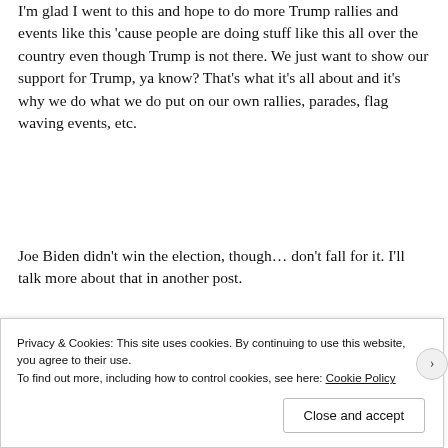I'm glad I went to this and hope to do more Trump rallies and events like this 'cause people are doing stuff like this all over the country even though Trump is not there. We just want to show our support for Trump, ya know? That's what it's all about and it's why we do what we do put on our own rallies, parades, flag waving events, etc.
Joe Biden didn't win the election, though… don't fall for it. I'll talk more about that in another post.
[Figure (screenshot): A promotional screenshot showing 'Let's get started' text on a white card overlay, alongside a photo of a person wearing an orange/mustard sweater working on a laptop.]
Privacy & Cookies: This site uses cookies. By continuing to use this website, you agree to their use.
To find out more, including how to control cookies, see here: Cookie Policy

Close and accept